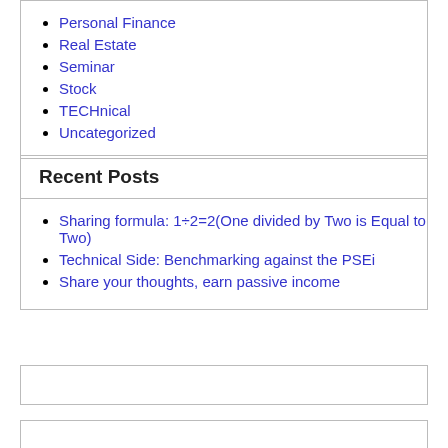Personal Finance
Real Estate
Seminar
Stock
TECHnical
Uncategorized
Recent Posts
Sharing formula: 1÷2=2(One divided by Two is Equal to Two)
Technical Side: Benchmarking against the PSEi
Share your thoughts, earn passive income